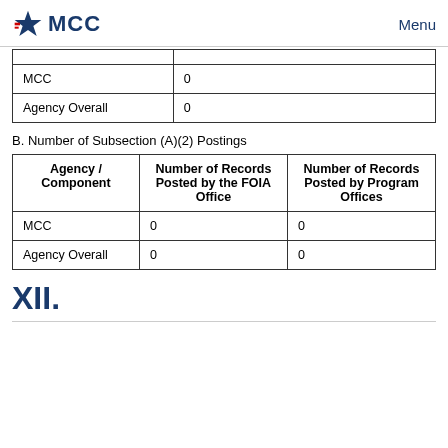MCC   Menu
|  |  |
| --- | --- |
| MCC | 0 |
| Agency Overall | 0 |
B. Number of Subsection (A)(2) Postings
| Agency / Component | Number of Records Posted by the FOIA Office | Number of Records Posted by Program Offices |
| --- | --- | --- |
| MCC | 0 | 0 |
| Agency Overall | 0 | 0 |
XII.